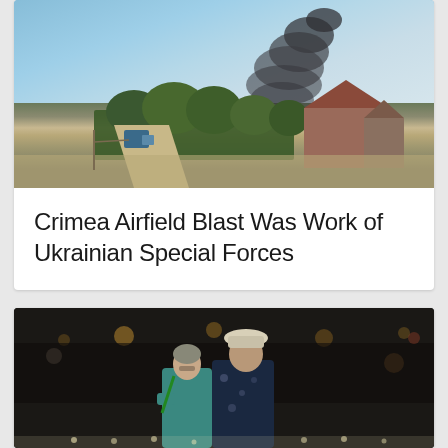[Figure (photo): A rural scene with a dirt road, vehicles, houses, and trees with thick black smoke rising in the background from the direction of a military airfield in Crimea.]
Crimea Airfield Blast Was Work of Ukrainian Special Forces
[Figure (photo): An elderly couple, a woman and a man wearing a hat and floral shirt, standing with their backs to the camera at what appears to be an outdoor evening event with lights and a crowd in the background.]